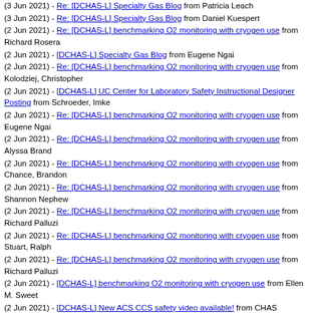(3 Jun 2021) - Re: [DCHAS-L] Specialty Gas Blog from Patricia Leach
(3 Jun 2021) - Re: [DCHAS-L] Specialty Gas Blog from Daniel Kuespert
(2 Jun 2021) - Re: [DCHAS-L] benchmarking O2 monitoring with cryogen use from Richard Rosera
(2 Jun 2021) - [DCHAS-L] Specialty Gas Blog from Eugene Ngai
(2 Jun 2021) - Re: [DCHAS-L] benchmarking O2 monitoring with cryogen use from Kolodziej, Christopher
(2 Jun 2021) - [DCHAS-L] UC Center for Laboratory Safety Instructional Designer Posting from Schroeder, Imke
(2 Jun 2021) - Re: [DCHAS-L] benchmarking O2 monitoring with cryogen use from Eugene Ngai
(2 Jun 2021) - Re: [DCHAS-L] benchmarking O2 monitoring with cryogen use from Alyssa Brand
(2 Jun 2021) - Re: [DCHAS-L] benchmarking O2 monitoring with cryogen use from Chance, Brandon
(2 Jun 2021) - Re: [DCHAS-L] benchmarking O2 monitoring with cryogen use from Shannon Nephew
(2 Jun 2021) - Re: [DCHAS-L] benchmarking O2 monitoring with cryogen use from Richard Palluzi
(2 Jun 2021) - Re: [DCHAS-L] benchmarking O2 monitoring with cryogen use from Stuart, Ralph
(2 Jun 2021) - Re: [DCHAS-L] benchmarking O2 monitoring with cryogen use from Richard Palluzi
(2 Jun 2021) - [DCHAS-L] benchmarking O2 monitoring with cryogen use from Ellen M. Sweet
(2 Jun 2021) - [DCHAS-L] New ACS CCS safety video available! from CHAS membership
(2 Jun 2021) - [DCHAS-L] OSHA QuickTakes for June 1, featuring information on COVID-19 vaccinations, needle safety, hazard communication, and more. from CHAS membership
(2 Jun 2021) - [DCHAS-L] Chemical Safety headlines (8 articles) from Ralph Stuart